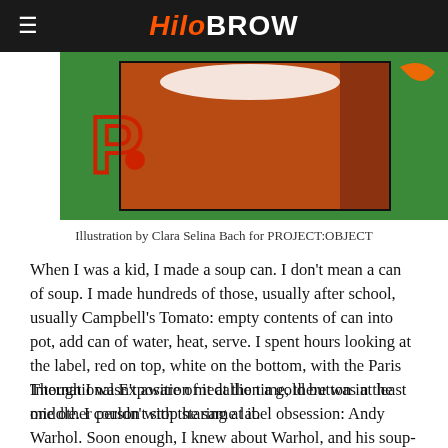HiloBROW
[Figure (illustration): Illustration showing a green background with an orange/brown can and red paint or marker elements, part of a Pop Art style illustration by Clara Selina Bach for PROJECT:OBJECT]
Illustration by Clara Selina Bach for PROJECT:OBJECT
When I was a kid, I made a soup can. I don’t mean a can of soup. I made hundreds of those, usually after school, usually Campbell’s Tomato: empty contents of can into pot, add can of water, heat, serve. I spent hours looking at the label, red on top, white on the bottom, with the Paris International Exposition medallion a gold button in the middle. I couldn’t stop staring at it.
Though I wasn’t aware of it at the time, there was at least one other person with the same label obsession: Andy Warhol. Soon enough, I knew about Warhol, and his soup-can paintings. They made sense to me, not just as Pop Art, but as religious